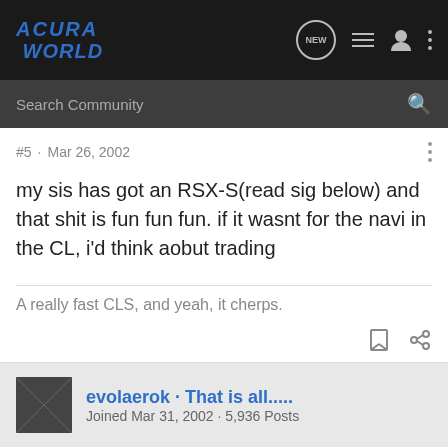ACURA WORLD
#5 · Mar 26, 2002
my sis has got an RSX-S(read sig below) and that shit is fun fun fun. if it wasnt for the navi in the CL, i'd think aobut trading
A really fast CLS, and yeah, it cherps.
evolaerok · That is all.....
Joined Mar 31, 2002 · 5,936 Posts